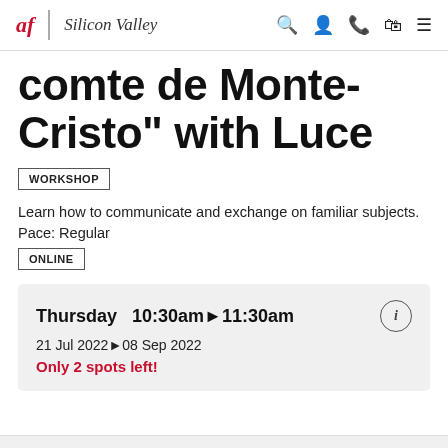af | Silicon Valley
comte de Monte-Cristo" with Luce
WORKSHOP
Learn how to communicate and exchange on familiar subjects.
Pace: Regular
ONLINE
Thursday  10:30am▶11:30am
21 Jul 2022▶08 Sep 2022
Only 2 spots left!